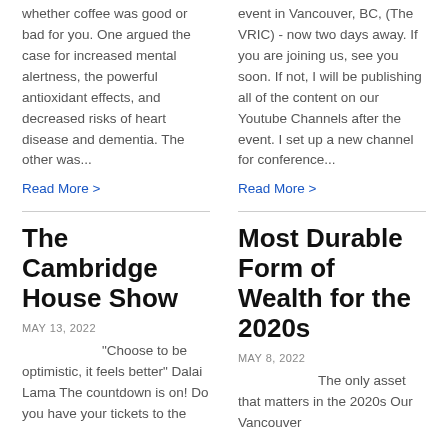whether coffee was good or bad for you. One argued the case for increased mental alertness, the powerful antioxidant effects, and decreased risks of heart disease and dementia. The other was...
Read More >
event in Vancouver, BC, (The VRIC) - now two days away. If you are joining us, see you soon. If not, I will be publishing all of the content on our Youtube Channels after the event. I set up a new channel for conference...
Read More >
The Cambridge House Show
MAY 13, 2022
"Choose to be optimistic, it feels better" Dalai Lama The countdown is on! Do you have your tickets to the
Most Durable Form of Wealth for the 2020s
MAY 8, 2022
The only asset that matters in the 2020s Our Vancouver